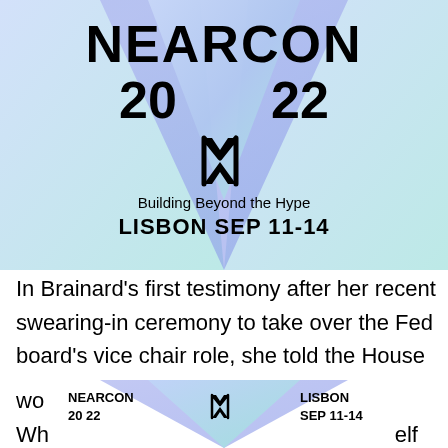[Figure (logo): NEARCON 2022 event logo with gradient blue/purple diamond/triangle shapes behind text reading NEARCON 20 22 with NEAR logo symbol, tagline Building Beyond the Hype, LISBON SEP 11-14]
In Brainard's first testimony after her recent swearing-in ceremony to take over the Fed board's vice chair role, she told the House Financial Services Committee that the Fed is still studying the question and wo Wh elf
[Figure (logo): Partial NEARCON 2022 logo at bottom of page showing NEARCON 20 22, NEAR symbol, LISBON SEP 11-14]